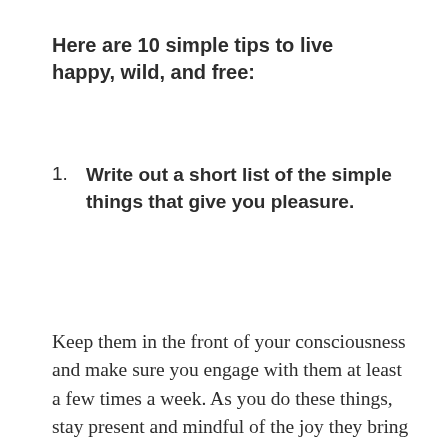Here are 10 simple tips to live happy, wild, and free:
1. Write out a short list of the simple things that give you pleasure.
Keep them in the front of your consciousness and make sure you engage with them at least a few times a week. As you do these things, stay present and mindful of the joy they bring